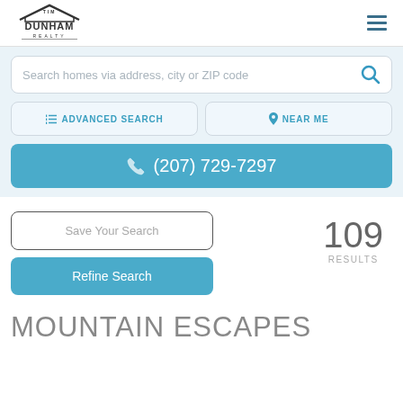[Figure (logo): Tim Dunham Realty logo with house/roof icon above text]
Search homes via address, city or ZIP code
ADVANCED SEARCH
NEAR ME
(207) 729-7297
Save Your Search
Refine Search
109 RESULTS
MOUNTAIN ESCAPES